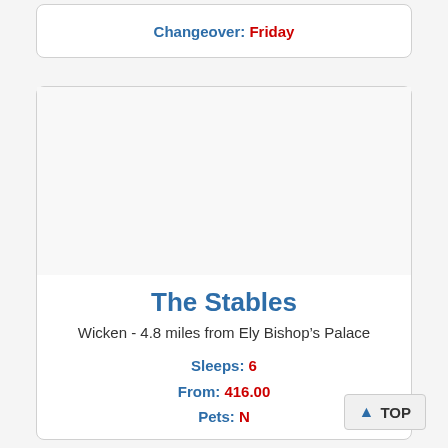Changeover: Friday
[Figure (photo): Property photo area (blank/white)]
The Stables
Wicken - 4.8 miles from Ely Bishop's Palace
Sleeps: 6
From: 416.00
Pets: N